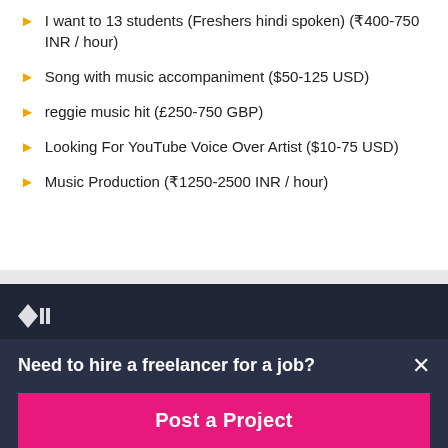I want to 13 students (Freshers hindi spoken) (₹400-750 INR / hour)
Song with music accompaniment ($50-125 USD)
reggie music hit (£250-750 GBP)
Looking For YouTube Voice Over Artist ($10-75 USD)
Music Production (₹1250-2500 INR / hour)
Need to hire a freelancer for a job?
Post a Project